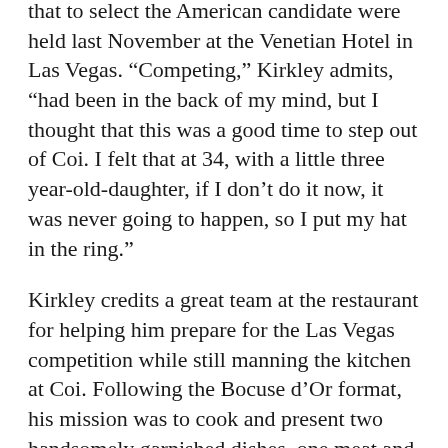that to select the American candidate were held last November at the Venetian Hotel in Las Vegas. “Competing,” Kirkley admits, “had been in the back of my mind, but I thought that this was a good time to step out of Coi. I felt that at 34, with a little three year-old-daughter, if I don’t do it now, it was never going to happen, so I put my hat in the ring.”
Kirkley credits a great team at the restaurant for helping him prepare for the Las Vegas competition while still manning the kitchen at Coi. Following the Bocuse d’Or format, his mission was to cook and present two handsomely garnished dishes, one meat and one fish, to a panel of judges within a precise time frame of five hours and 35 minutes.
In Las Vegas, Kirkley, along with a talented young commis, Mimi Chen, raced to the finish line and to victory over two other finalists. Their lives would change, having built the creative for a restaurant